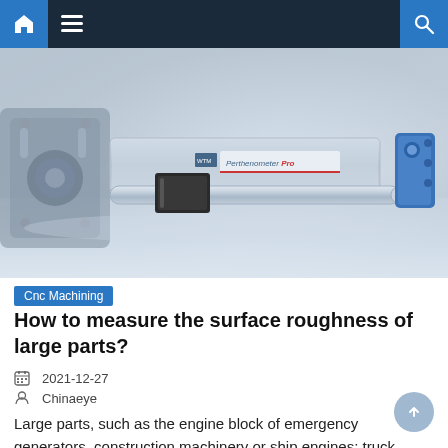Navigation bar with home, menu, and search icons
[Figure (photo): Close-up photo of a surface roughness measurement instrument (profilometer) placed on a metallic surface, showing a silver cylindrical probe and branded housing labeled 'Perthenometer']
Cnc Machining
How to measure the surface roughness of large parts?
2021-12-27
Chinaeye
Large parts, such as the engine block of emergency generators, construction machinery or ship engines; truck